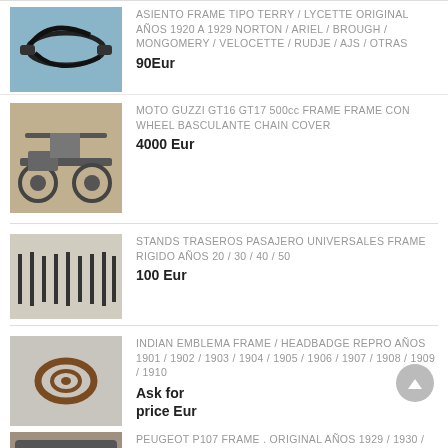[Figure (photo): Motorcycle seat frame tipo Terry / Lycette on blue background]
ASIENTO FRAME TIPO TERRY / LYCETTE ORIGINAL AÑOS 1920 A 1929 NORTON / ARIEL / BROUGH / MONGOMERY / VELOCETTE / RUDJE / AJS / OTRAS
90Eur
[Figure (photo): Moto Guzzi GT16 GT17 frame with wheel basculante chain cover]
MOTO GUZZI GT16 GT17 500cc FRAME FRAME CON WHEEL BASCULANTE CHAIN COVER
4000 Eur
[Figure (photo): Stands traseros pasajero universales]
STANDS TRASEROS PASAJERO UNIVERSALES FRAME RIGIDO AÑOS 20 / 30 / 40 / 50
100 Eur
[Figure (photo): Indian Emblema frame headbadge repro]
INDIAN EMBLEMA FRAME / HEADBADGE REPRO AÑOS 1901 / 1902 / 1903 / 1904 / 1905 / 1906 / 1907 / 1908 / 1909 / 1910
Ask for price Eur
[Figure (photo): Peugeot P107 frame original]
PEUGEOT P107 FRAME . ORIGINAL AÑOS 1929 / 1930 /